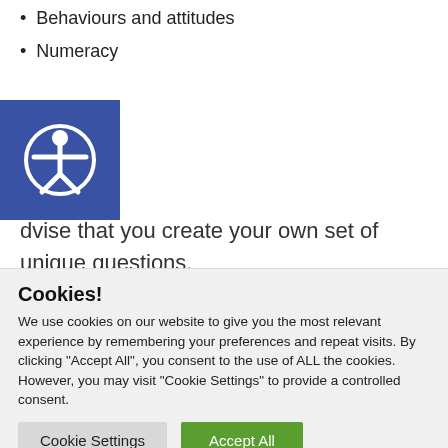Behaviours and attitudes
Numeracy
[Figure (illustration): Blue square accessibility icon with white person figure with arms outstretched]
dvise that you create your own set of unique questions.
Free Pilot
We are offering a free pilot to all of our existing
Cookies! We use cookies on our website to give you the most relevant experience by remembering your preferences and repeat visits. By clicking “Accept All”, you consent to the use of ALL the cookies. However, you may visit "Cookie Settings" to provide a controlled consent.